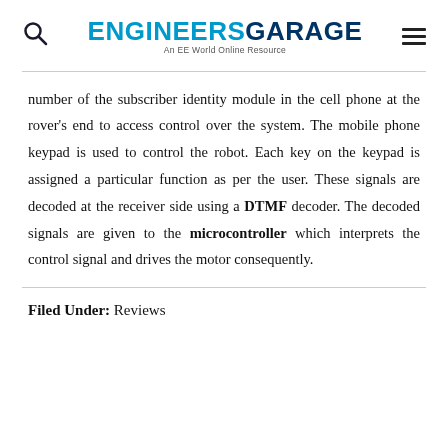ENGINEERS GARAGE — An EE World Online Resource
number of the subscriber identity module in the cell phone at the rover's end to access control over the system. The mobile phone keypad is used to control the robot. Each key on the keypad is assigned a particular function as per the user. These signals are decoded at the receiver side using a DTMF decoder. The decoded signals are given to the microcontroller which interprets the control signal and drives the motor consequently.
Filed Under: Reviews